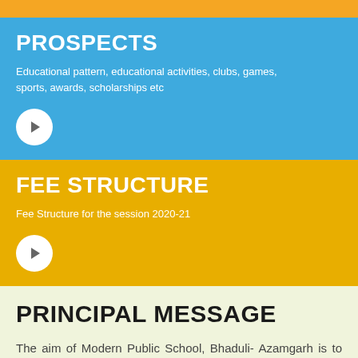PROSPECTS
Educational pattern, educational activities, clubs, games, sports, awards, scholarships etc
FEE STRUCTURE
Fee Structure for the session 2020-21
PRINCIPAL MESSAGE
The aim of Modern Public School, Bhaduli- Azamgarh is to provide proper education to the children through the medium of English. It also at unfolding their hidden talent and building self confidence in